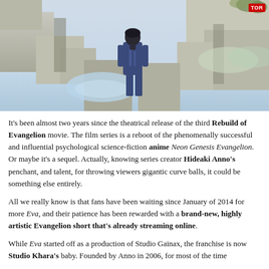[Figure (illustration): Anime character in a blue bodysuit standing with back to viewer among ruined concrete structures, with a reflective water surface and distant scenery. TOR logo badge in top right corner.]
It's been almost two years since the theatrical release of the third Rebuild of Evangelion movie. The film series is a reboot of the phenomenally successful and influential psychological science-fiction anime Neon Genesis Evangelion. Or maybe it's a sequel. Actually, knowing series creator Hideaki Anno's penchant, and talent, for throwing viewers gigantic curve balls, it could be something else entirely.
All we really know is that fans have been waiting since January of 2014 for more Eva, and their patience has been rewarded with a brand-new, highly artistic Evangelion short that's already streaming online.
While Eva started off as a production of Studio Gainax, the franchise is now Studio Khara's baby. Founded by Anno in 2006, for most of the time